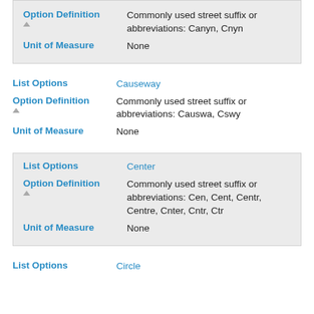Option Definition ▲: Commonly used street suffix or abbreviations: Canyn, Cnyn
Unit of Measure: None
List Options: Causeway
Option Definition ▲: Commonly used street suffix or abbreviations: Causwa, Cswy
Unit of Measure: None
List Options: Center
Option Definition ▲: Commonly used street suffix or abbreviations: Cen, Cent, Centr, Centre, Cnter, Cntr, Ctr
Unit of Measure: None
List Options: Circle